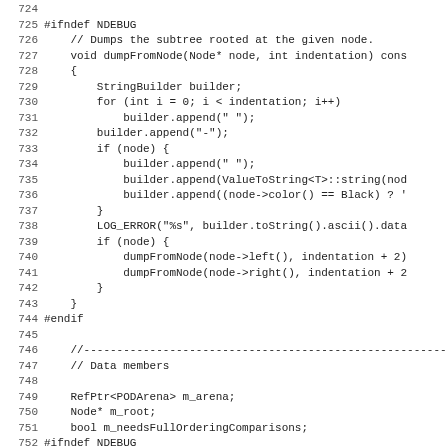[Figure (screenshot): Source code listing in C++ showing lines 724-755, including #ifndef NDEBUG blocks, dumpFromNode function, data members section with RefPtr<PODArena> m_arena, Node* m_root, bool m_needsFullOrderingComparisons, bool m_verboseDebugging, and closing #endif and };]